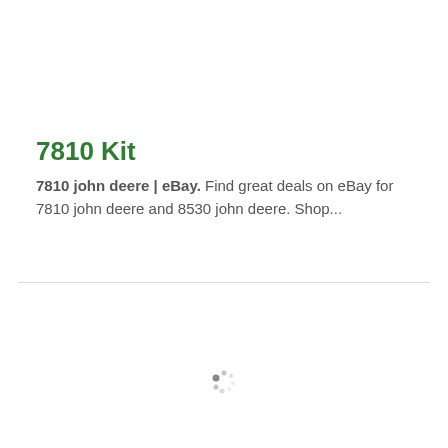7810 Kit
7810 john deere | eBay. Find great deals on eBay for 7810 john deere and 8530 john deere. Shop...
[Figure (other): Loading spinner icon made of small dots arranged in a circle]